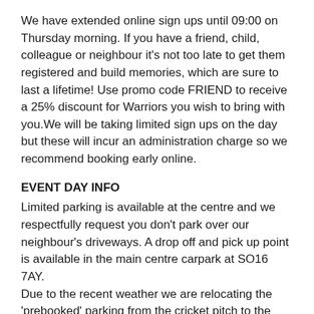We have extended online sign ups until 09:00 on Thursday morning. If you have a friend, child, colleague or neighbour it's not too late to get them registered and build memories, which are sure to last a lifetime! Use promo code FRIEND to receive a 25% discount for Warriors you wish to bring with you.We will be taking limited sign ups on the day but these will incur an administration charge so we recommend booking early online.
EVENT DAY INFO
Limited parking is available at the centre and we respectfully request you don't park over our neighbour's driveways. A drop off and pick up point is available in the main centre carpark at SO16 7AY.
Due to the recent weather we are relocating the 'prebooked' parking from the cricket pitch to the depot at the top of the Alpine Centre. Racers who have pre-booked parking will need to give their name to the parking attendant and this can be accessed off Vermont Road (SO16 7LT).
The event village is located within the athletics track and will open at 8.00 am. Remember you need to have cleared registration 30 minutes prior to your race. A registration will